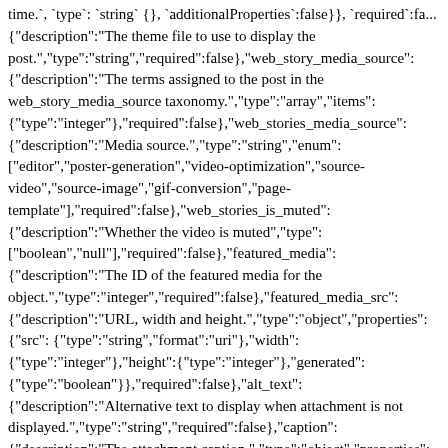time.`, `type`: `string` {}, `additionalProperties`:false}}, `required`:fa... {"description":"The theme file to use to display the post.","type":"string","required":false},"web_story_media_source": {"description":"The terms assigned to the post in the web_story_media_source taxonomy.","type":"array","items": {"type":"integer"},"required":false},"web_stories_media_source": {"description":"Media source.","type":"string","enum": ["editor","poster-generation","video-optimization","source-video","source-image","gif-conversion","page-template"],"required":false},"web_stories_is_muted": {"description":"Whether the video is muted","type": ["boolean","null"],"required":false},"featured_media": {"description":"The ID of the featured media for the object.","type":"integer","required":false},"featured_media_src": {"description":"URL, width and height.","type":"object","properties":{"src": {"type":"string","format":"uri"},"width": {"type":"integer"},"height":{"type":"integer"},"generated": {"type":"boolean"}},"required":false},"alt_text": {"description":"Alternative text to display when attachment is not displayed.","type":"string","required":false},"caption": {"description":"The attachment caption.","type":"object","properties":{"raw": {"description":"Caption for the attachment, as it exists in the database.","type":"string","context":["edit"]},"rendered": {"description":"HTML caption for the attachment, transformed f...